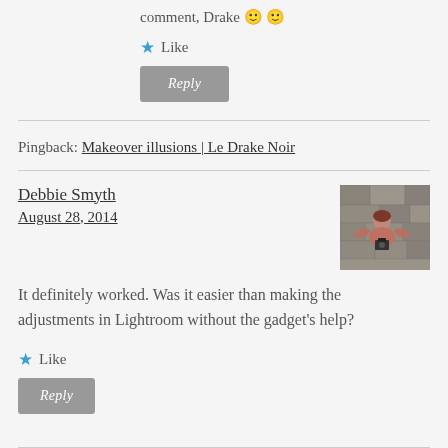comment, Drake 🙂 🙂
Like
Reply
Pingback: Makeover illusions | Le Drake Noir
Debbie Smyth
August 28, 2014
[Figure (photo): Avatar photo of Debbie Smyth - person photographed from above holding a camera]
It definitely worked. Was it easier than making the adjustments in Lightroom without the gadget's help?
Like
Reply